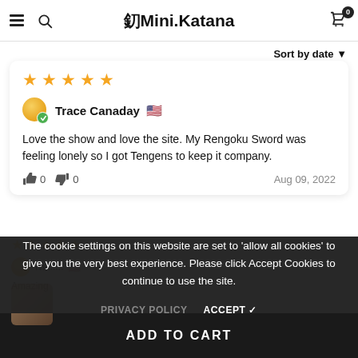釖Mini.Katana
Sort by date
★★★★★ Trace Canaday 🇺🇸 Love the show and love the site. My Rengoku Sword was feeling lonely so I got Tengens to keep it company. 👍 0 👎 0 Aug 09, 2022
The cookie settings on this website are set to 'allow all cookies' to give you the very best experience. Please click Accept Cookies to continue to use the site. PRIVACY POLICY ACCEPT ✓
ADD TO CART